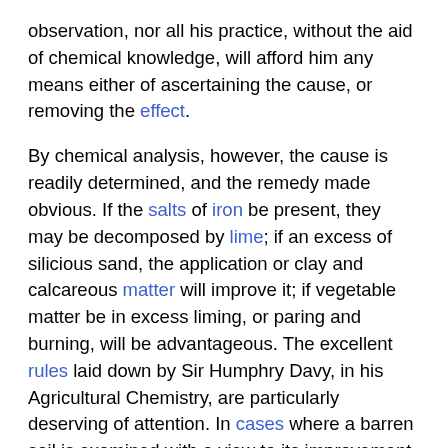observation, nor all his practice, without the aid of chemical knowledge, will afford him any means either of ascertaining the cause, or removing the effect.
By chemical analysis, however, the cause is readily determined, and the remedy made obvious. If the salts of iron be present, they may be decomposed by lime; if an excess of silicious sand, the application or clay and calcareous matter will improve it; if vegetable matter be in excess liming, or paring and burning, will be advantageous. The excellent rules laid down by Sir Humphry Davy, in his Agricultural Chemistry, are particularly deserving of attention. In cases where a barren soil is examined with a view to its improvement it ought, if possible, to be compared with an extremely fertile soil in the neighbourhood, and in a similar situation. The difference given by their analyses would indicate the methods of cultivation, and thus the plan of improvement would be founded upon accurate scientific prin ciples. If the fertile soil contained a large quantity of sand in proportion to the barren soil, the process of melioration would depend simply upon a supply of this substance; and the method would be equally simple with regard to soils deficient in clay or calcareous matter.